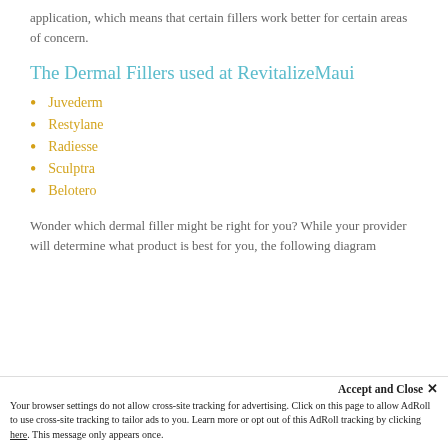application, which means that certain fillers work better for certain areas of concern.
The Dermal Fillers used at RevitalizeMaui
Juvederm
Restylane
Radiesse
Sculptra
Belotero
Wonder which dermal filler might be right for you? While your provider will determine what product is best for you, the following diagram
Accept and Close ✕
Your browser settings do not allow cross-site tracking for advertising. Click on this page to allow AdRoll to use cross-site tracking to tailor ads to you. Learn more or opt out of this AdRoll tracking by clicking here. This message only appears once.